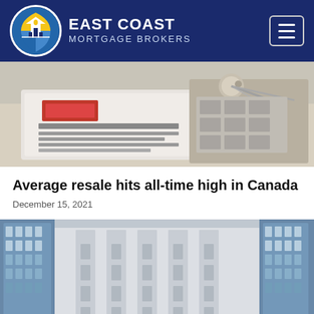EAST COAST MORTGAGE BROKERS
[Figure (photo): Close-up photo of a calculator with house keys on top, suggesting real estate and mortgage financing]
Average resale hits all-time high in Canada
December 15, 2021
[Figure (photo): Exterior photo of a large neoclassical government or bank building with glass towers on either side, likely the Bank of Canada]